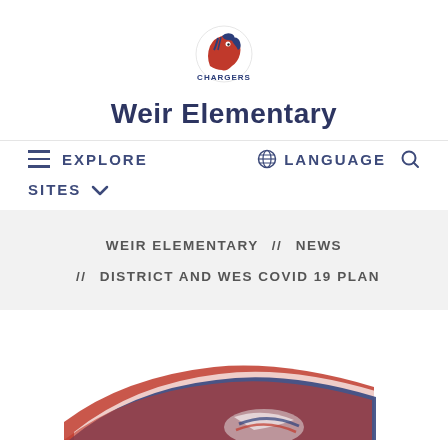[Figure (logo): Chargers mascot logo — red and navy horse/charger with 'CHARGERS' text below]
Weir Elementary
EXPLORE  LANGUAGE
SITES
WEIR ELEMENTARY  //  NEWS  //  DISTRICT AND WES COVID 19 PLAN
[Figure (photo): Partial bottom image showing red, white, and navy decorative ribbon or swoosh design]